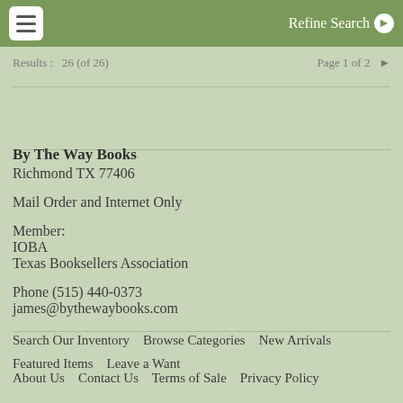≡  Refine Search ▶
Results : 26 (of 26)   Page 1 of 2
By The Way Books
Richmond TX 77406

Mail Order and Internet Only

Member:
IOBA
Texas Booksellers Association

Phone (515) 440-0373
james@bythewaybooks.com
Search Our Inventory   Browse Categories   New Arrivals   Featured Items   Leave a Want
About Us   Contact Us   Terms of Sale   Privacy Policy